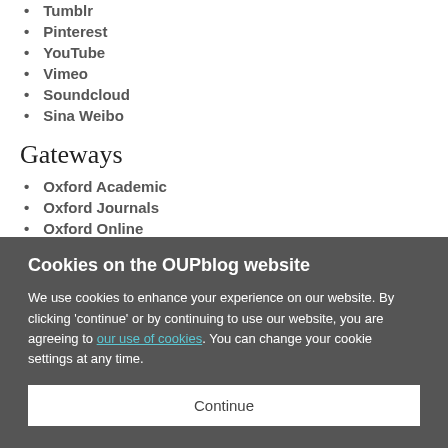Tumblr
Pinterest
YouTube
Vimeo
Soundcloud
Sina Weibo
Gateways
Oxford Academic
Oxford Journals
Oxford Online
Higher Education
Oxford Index
Oxford Languages
Cookies on the OUPblog website
We use cookies to enhance your experience on our website. By clicking 'continue' or by continuing to use our website, you are agreeing to our use of cookies. You can change your cookie settings at any time.
Continue